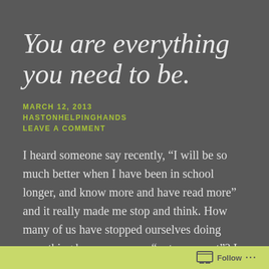You are everything you need to be.
MARCH 12, 2013
HASTONHELPINGHANDS
LEAVE A COMMENT
I heard someone say recently, “I will be so much better when I have been in school longer, and know more and have read more” and it really made me stop and think. How many of us have stopped ourselves doing something because we are “not an expert”? I read recently it takes 10,000 hours to get
Follow